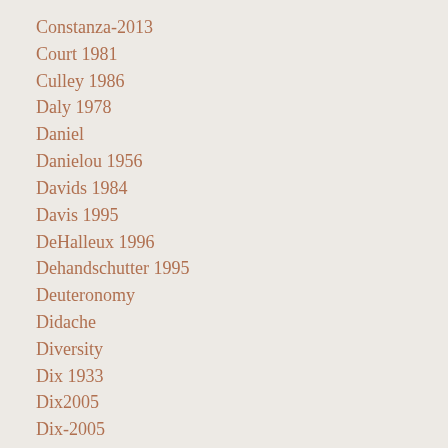Constanza-2013
Court 1981
Culley 1986
Daly 1978
Daniel
Danielou 1956
Davids 1984
Davis 1995
DeHalleux 1996
Dehandschutter 1995
Deuteronomy
Didache
Diversity
Dix 1933
Dix2005
Dix-2005
Doane 1994
Draper
Draper 1984